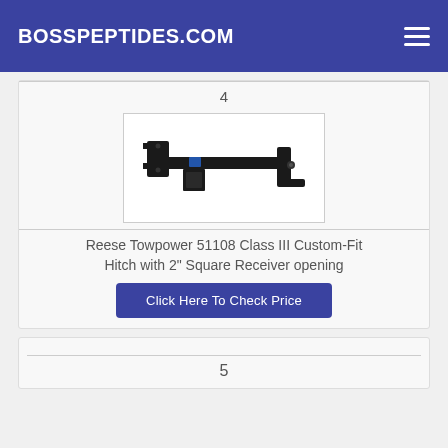BOSSPEPTIDES.COM
[Figure (photo): Photo of a Reese Towpower 51108 Class III Custom-Fit Hitch — black steel trailer hitch receiver with 2-inch square opening]
Reese Towpower 51108 Class III Custom-Fit Hitch with 2" Square Receiver opening
Click Here To Check Price
5